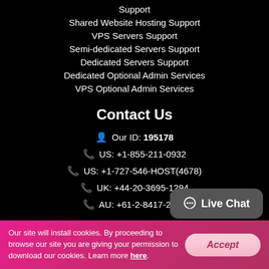Support
Shared Website Hosting Support
VPS Servers Support
Semi-dedicated Servers Support
Dedicated Servers Support
Dedicated Optional Admin Services
VPS Optional Admin Services
Contact Us
Our ID: 195178
US: +1-855-211-0932
US: +1-727-546-HOST(4678)
UK: +44-20-3695-1294
AU: +61-2-8417-2372
[Figure (other): Live Chat button bubble graphic]
Our site will install cookies. By proceeding to browse our site you are giving your permission to download our cookies. Learn more here.